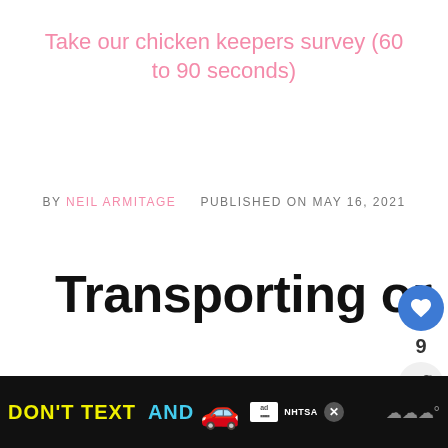Take our chicken keepers survey (60 to 90 seconds)
BY NEIL ARMITAGE   PUBLISHED ON MAY 16, 2021
Transporting or moving chickens.
[Figure (screenshot): What's Next widget showing thumbnail image with text 'Chicken genetics, ge...' and label 'WHAT'S NEXT →']
[Figure (screenshot): Bottom advertisement bar with black background showing 'DON'T TEXT AND' in yellow/cyan text with car emoji and NHTSA ad badge]